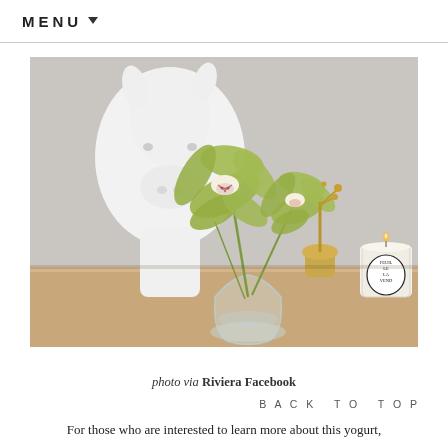MENU
[Figure (photo): A styled shelf scene featuring green cymbidium orchids in a small clear glass vase, a white ceramic animal head sculpture (deer or antelope), a brass/gold decorative piece, and a Diptyque scented candle, all arranged on a light wood shelf against a grey-white wall.]
photo via Riviera Facebook
BACK TO TOP
For those who are interested to learn more about this yogurt,